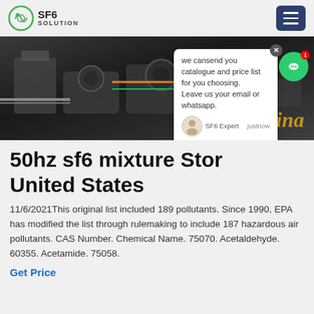SF6 SOLUTION
[Figure (photo): Industrial SF6 gas equipment machinery in a facility, dark industrial setting with pipes and metal components. Text overlay reads 'ina' in gold italic.]
50hz sf6 mixture Store United States
11/6/2021This original list included 189 pollutants. Since 1990, EPA has modified the list through rulemaking to include 187 hazardous air pollutants. CAS Number. Chemical Name. 75070. Acetaldehyde. 60355. Acetamide. 75058.
Get Price